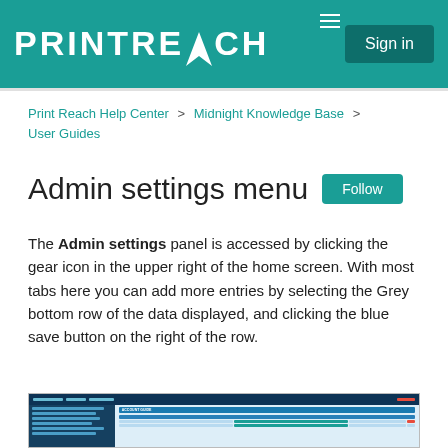PRINTREACH Sign in
Print Reach Help Center > Midnight Knowledge Base > User Guides
Admin settings menu
The Admin settings panel is accessed by clicking the gear icon in the upper right of the home screen. With most tabs here you can add more entries by selecting the Grey bottom row of the data displayed, and clicking the blue save button on the right of the row.
[Figure (screenshot): Screenshot of the Admin settings menu showing Account Guide panel with a sidebar navigation list and a data table with teal header row.]